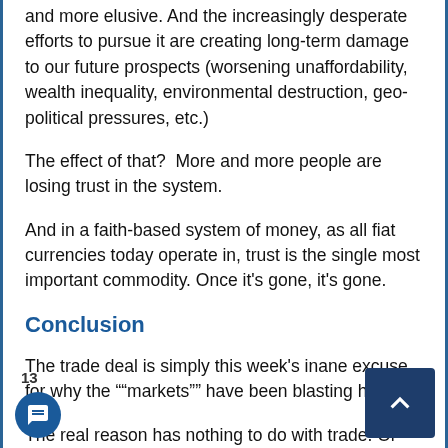and more elusive. And the increasingly desperate efforts to pursue it are creating long-term damage to our future prospects (worsening unaffordability, wealth inequality, environmental destruction, geo-political pressures, etc.)
The effect of that?  More and more people are losing trust in the system.
And in a faith-based system of money, as all fiat currencies today operate in, trust is the single most important commodity. Once it's gone, it's gone.
Conclusion
The trade deal is simply this week's inane excuse for why the "“markets”" have been blasting higher.
The real reason has nothing to do with trade. Or with anything fundamental at
13